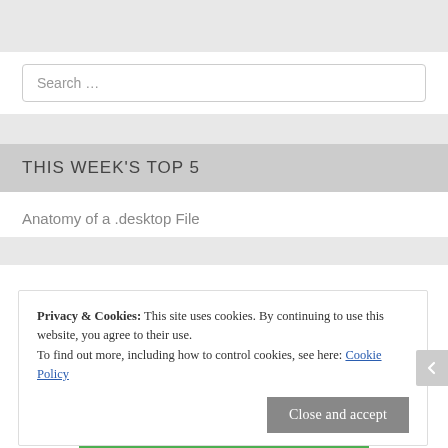Search …
THIS WEEK'S TOP 5
Anatomy of a .desktop File
Privacy & Cookies: This site uses cookies. By continuing to use this website, you agree to their use.
To find out more, including how to control cookies, see here: Cookie Policy
Close and accept